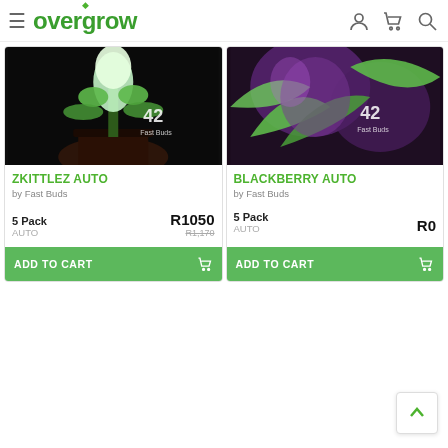overgrow — navigation header with hamburger menu, user, cart, and search icons
[Figure (photo): Close-up photo of a cannabis plant with white buds in a black pot against dark background, with '42 Fast Buds' watermark]
ZKITTLEZ AUTO
by Fast Buds
5 Pack AUTO  R1050  R1,170
[Figure (photo): Close-up photo of a purple/green cannabis plant with '42 Fast Buds' watermark]
BLACKBERRY AUTO
by Fast Buds
5 Pack AUTO  R0